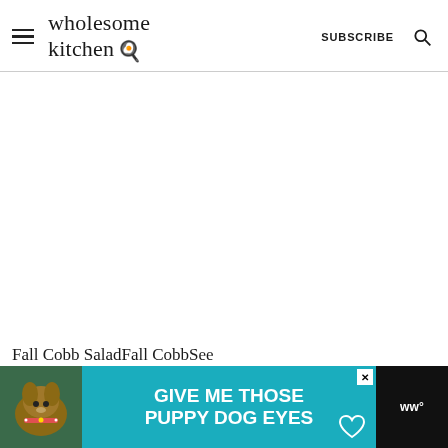wholesome kitchen — SUBSCRIBE
[Figure (other): Large blank white content area placeholder for main article image]
Fall Cobb SaladFall CobbSee
[Figure (other): Advertisement banner: Give Me Those Puppy Dog Eyes — ad with dog photo and teal background]